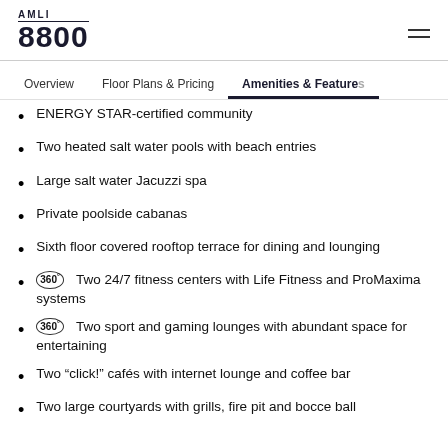AMLI 8800
Overview | Floor Plans & Pricing | Amenities & Features
ENERGY STAR-certified community
Two heated salt water pools with beach entries
Large salt water Jacuzzi spa
Private poolside cabanas
Sixth floor covered rooftop terrace for dining and lounging
Two 24/7 fitness centers with Life Fitness and ProMaxima systems
Two sport and gaming lounges with abundant space for entertaining
Two “click!” cafés with internet lounge and coffee bar
Two large courtyards with grills, fire pit and bocce ball